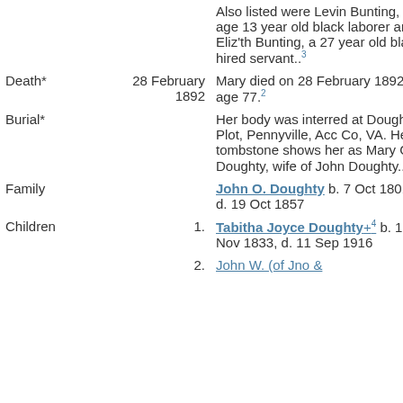| Field | Date | Detail |
| --- | --- | --- |
|  |  | Also listed were Levin Bunting, age 13 year old black laborer and Eliz'th Bunting, a 27 year old black hired servant.. [3] |
| Death* | 28 February 1892 | Mary died on 28 February 1892 at age 77. [2] |
| Burial* |  | Her body was interred at Doughty Plot, Pennyville, Acc Co, VA. Her tombstone shows her as Mary C. Doughty, wife of John Doughty.. [2] |
| Family |  | John O. Doughty b. 7 Oct 1801, d. 19 Oct 1857 |
| Children | 1. | Tabitha Joyce Doughty+ [4] b. 18 Nov 1833, d. 11 Sep 1916 |
|  | 2. | John W. (of Jno &… |